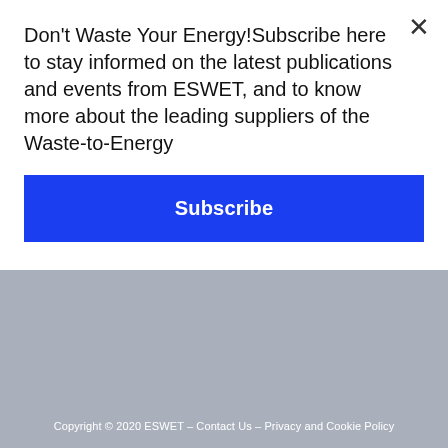Don't Waste Your Energy!Subscribe here to stay informed on the latest publications and events from ESWET, and to know more about the leading suppliers of the Waste-to-Energy
Subscribe
Copyright © 2020 ESWET – Contact Us – Privacy and Cookie Policy